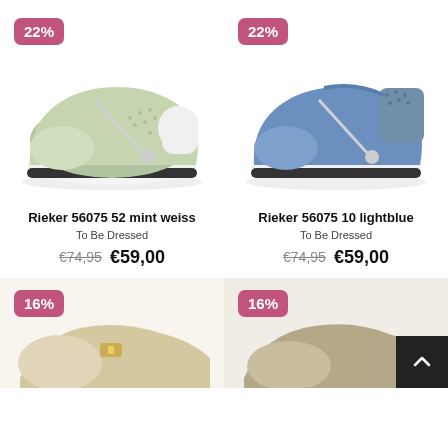[Figure (photo): Rieker 56075 52 mint weiss shoe - green/mint slip-on sneaker with side zipper, 22% discount badge]
Rieker 56075 52 mint weiss
To Be Dressed
€74,95  €59,00
[Figure (photo): Rieker 56075 10 lightblue shoe - blue slip-on sneaker with side zipper, 22% discount badge]
Rieker 56075 10 lightblue
To Be Dressed
€74,95  €59,00
[Figure (photo): Partial view of a beige/gold shoe, 16% discount badge]
[Figure (photo): Partial view of another shoe, 16% discount badge]